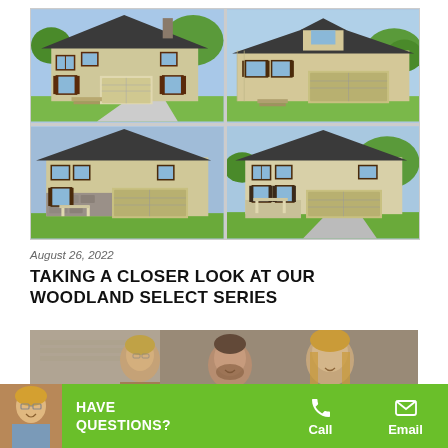[Figure (photo): 2x2 grid of four house exterior renderings showing different architectural elevations of homes in the Woodland Select Series]
August 26, 2022
TAKING A CLOSER LOOK AT OUR WOODLAND SELECT SERIES
[Figure (photo): Blurred photo of a couple looking at something together, presumably a home design or plan]
HAVE QUESTIONS? | Call | Email